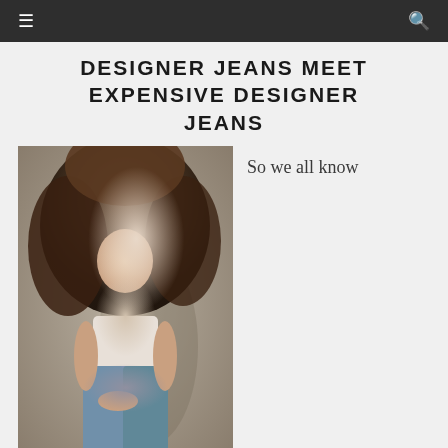≡  🔍
DESIGNER JEANS MEET EXPENSIVE DESIGNER JEANS
[Figure (photo): Woman with voluminous curly hair, smiling, wearing a white crop top and blue denim jeans, seated against a gray wall background]
So we all know
designer jeans don't come cheap.